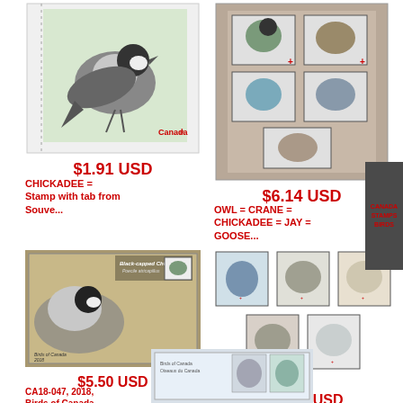[Figure (photo): Canadian stamp showing a chickadee bird in flight, with perforated edges, Canada marking]
$1.91 USD
CHICKADEE = Stamp with tab from Souve...
[Figure (photo): Canadian souvenir sheet showing multiple bird stamps including owl, crane, chickadee, jay, goose]
$6.14 USD
OWL = CRANE = CHICKADEE = JAY = GOOSE...
[Figure (photo): First day cover featuring Black-capped Chickadee, Birds of Canada 2018]
$5.50 USD
CA18-047, 2018, Birds of Canada, Pict...
[Figure (photo): Set of 5 die cut stamps showing owl, crane, chickadee, jay, and goose birds]
$11.29 USD
DIE CUT = OWL = CRANE = CHICKADEE = J...
[Figure (photo): Souvenir sheet with multiple bird stamps at bottom of page, partially visible]